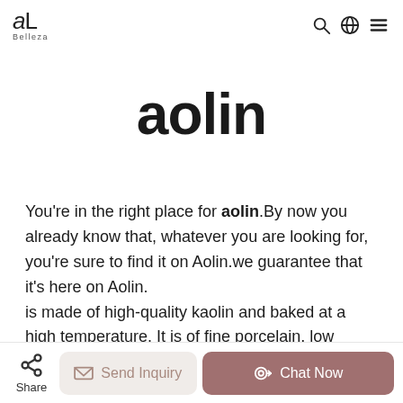aL Belleza — navigation header with search, globe, and menu icons
aolin
You're in the right place for aolin.By now you already know that, whatever you are looking for, you're sure to find it on Aolin.we guarantee that it's here on Aolin.
is made of high-quality kaolin and baked at a high temperature. It is of fine porcelain, low water absorption, and high density. It is excellent in high-temperature resistance, corrosion resistance, and scratch resistance..
Share | Send Inquiry | Chat Now